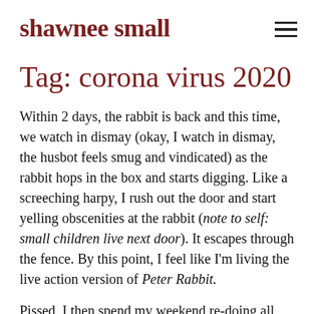shawnee small
Tag: corona virus 2020
Within 2 days, the rabbit is back and this time, we watch in dismay (okay, I watch in dismay, the husbot feels smug and vindicated) as the rabbit hops in the box and starts digging. Like a screeching harpy, I rush out the door and start yelling obscenities at the rabbit (note to self: small children live next door). It escapes through the fence. By this point, I feel like I'm living the live action version of Peter Rabbit.
Pissed, I then spend my weekend re-doing all the fencing with brand new high tensile geogrid mesh (yes, the stuff they use in construction) then secure it to the ground